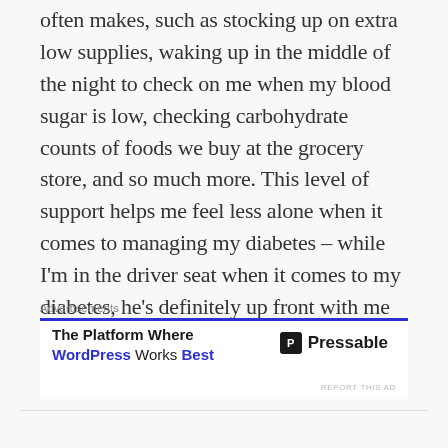often makes, such as stocking up on extra low supplies, waking up in the middle of the night to check on me when my blood sugar is low, checking carbohydrate counts of foods we buy at the grocery store, and so much more. This level of support helps me feel less alone when it comes to managing my diabetes – while I'm in the driver seat when it comes to my diabetes, he's definitely up front with me in the passenger seat making the whole ride easier.
Advertisements
[Figure (other): Advertisement banner for Pressable: 'The Platform Where WordPress Works Best' with Pressable logo on the right]